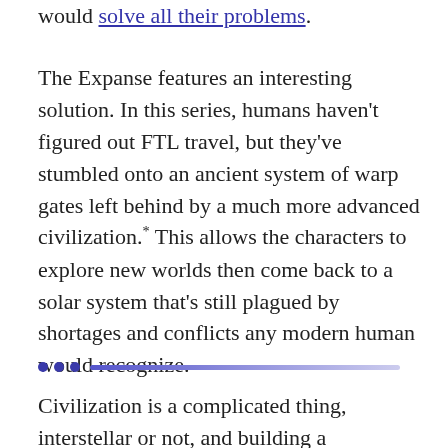would solve all their problems.
The Expanse features an interesting solution. In this series, humans haven't figured out FTL travel, but they've stumbled onto an ancient system of warp gates left behind by a much more advanced civilization.* This allows the characters to explore new worlds then come back to a solar system that's still plagued by shortages and conflicts any modern human would recognize.
• • • ───────────────────────
Civilization is a complicated thing, interstellar or not, and building a convincing one will always be a challenge. Fortunately, these obstacles need not